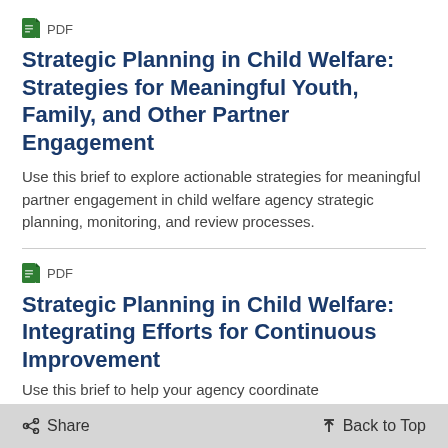[Figure (other): Green PDF document icon with label 'PDF']
Strategic Planning in Child Welfare: Strategies for Meaningful Youth, Family, and Other Partner Engagement
Use this brief to explore actionable strategies for meaningful partner engagement in child welfare agency strategic planning, monitoring, and review processes.
[Figure (other): Green PDF document icon with label 'PDF']
Strategic Planning in Child Welfare: Integrating Efforts for Continuous Improvement
Use this brief to help your agency coordinate
< Share   Back to Top